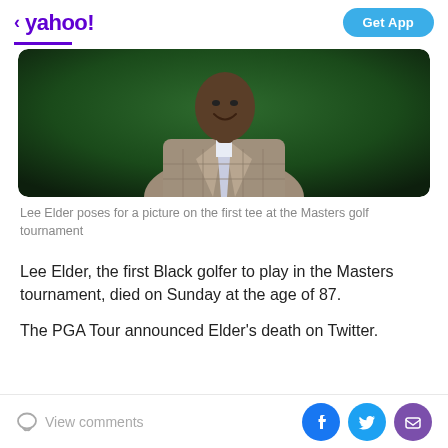< yahoo!   Get App
[Figure (photo): Lee Elder poses for a picture on the first tee at the Masters golf tournament — shows a man in a grey/tan plaid blazer and striped tie smiling, with a dark green background]
Lee Elder poses for a picture on the first tee at the Masters golf tournament
Lee Elder, the first Black golfer to play in the Masters tournament, died on Sunday at the age of 87.
The PGA Tour announced Elder's death on Twitter.
View comments